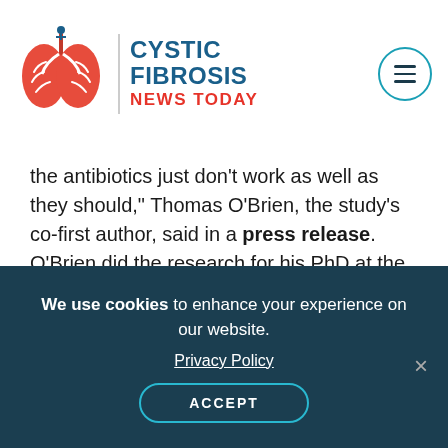Cystic Fibrosis News Today
the antibiotics just don't work as well as they should," Thomas O'Brien, the study's co-first author, said in a press release. O'Brien did the research for his PhD at the University of Cambridge.
Advertisement
[Figure (other): Advertisement box with footer text: *The exact way BRONCHITOL® (mannitol) inhalation powder works to]
We use cookies to enhance your experience on our website.
Privacy Policy
ACCEPT